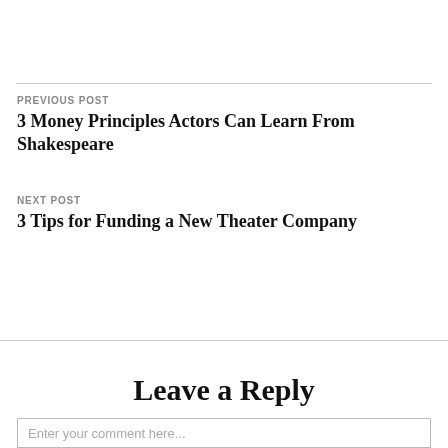PREVIOUS POST
3 Money Principles Actors Can Learn From Shakespeare
NEXT POST
3 Tips for Funding a New Theater Company
Leave a Reply
Enter your comment here...